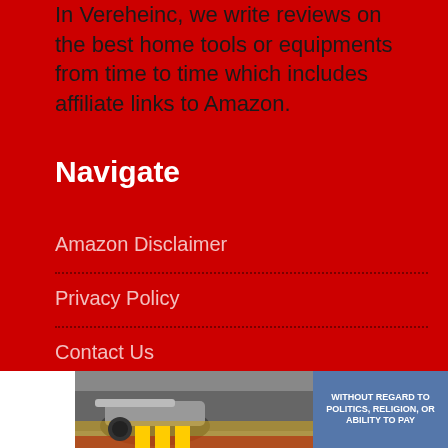In Vereheinc, we write reviews on the best home tools or equipments from time to time which includes affiliate links to Amazon.
Navigate
Amazon Disclaimer
Privacy Policy
Contact Us
[Figure (photo): Advertisement banner showing an airplane being loaded with cargo, with text 'WITHOUT REGARD TO POLITICS, RELIGION, OR ABILITY TO PAY' on the right side.]